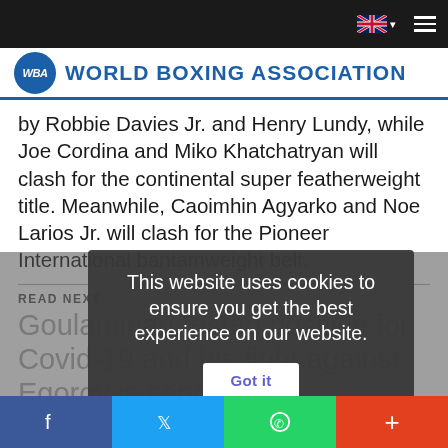World Boxing Association
by Robbie Davies Jr. and Henry Lundy, while Joe Cordina and Miko Khatchatryan will clash for the continental super featherweight title. Meanwhile, Caoimhin Agyarko and Noe Larios Jr. will clash for the Pioneer International bantamweight belt.
READ NEXT
Goulamirian tested positive for Covid-19 and his fight against Egorov is cancelled
This website uses cookies to ensure you get the best experience on our website. Got it